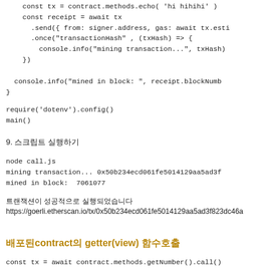const tx = contract.methods.echo( 'hi hihihi' )
    const receipt = await tx
      .send({ from: signer.address, gas: await tx.esti
      .once("transactionHash" , (txHash) => {
        console.info("mining transaction...", txHash)
    })

  console.info("mined in block: ", receipt.blockNumb
}
require('dotenv').config()
main()
9. 스크립트 실행하기
node call.js
mining transaction... 0x50b234ecd061fe5014129aa5ad3f
mined in block:  7061077
트랜잭션이 성공적으로 실행되었습니다
https://goerli.etherscan.io/tx/0x50b234ecd061fe5014129aa5ad3f823dc46a
배포된contract의 getter(view) 함수호출
const tx = await contract.methods.getNumber().call()